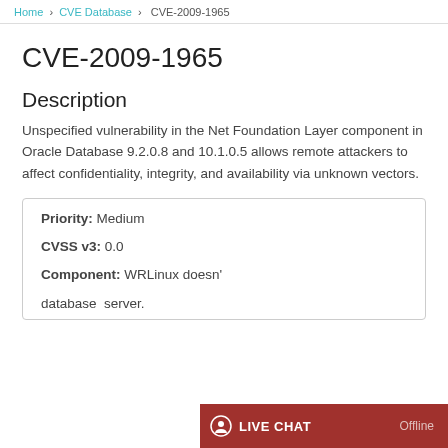Home / CVE Database / CVE-2009-1965
CVE-2009-1965
Description
Unspecified vulnerability in the Net Foundation Layer component in Oracle Database 9.2.0.8 and 10.1.0.5 allows remote attackers to affect confidentiality, integrity, and availability via unknown vectors.
Priority: Medium
CVSS v3: 0.0
Component: WRLinux doesn't... database server.